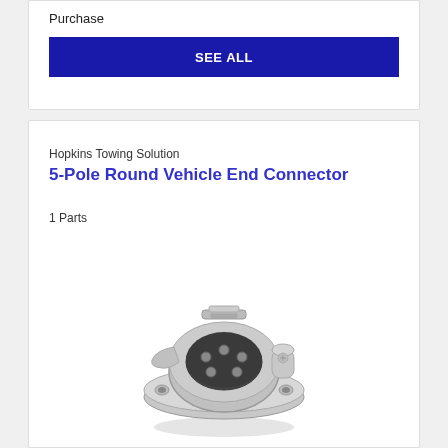Purchase
SEE ALL
Hopkins Towing Solution
5-Pole Round Vehicle End Connector
1 Parts
[Figure (photo): A 5-pole round vehicle end connector made of metal/chrome finish, showing the round connector body with mounting bracket and poles visible from the front angle.]